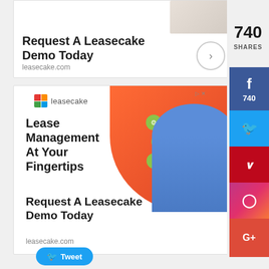[Figure (screenshot): Top Leasecake advertisement (partially cropped at top) showing 'Request A Leasecake Demo Today' headline with a right-arrow button and leasecake.com URL]
[Figure (screenshot): Main Leasecake advertisement with orange background, person holding laptop, green pill buttons labeled Simple/Secure/Satisfying, headline 'Lease Management At Your Fingertips', 'Request A Leasecake Demo Today', and leasecake.com URL]
740
SHARES
Tweet